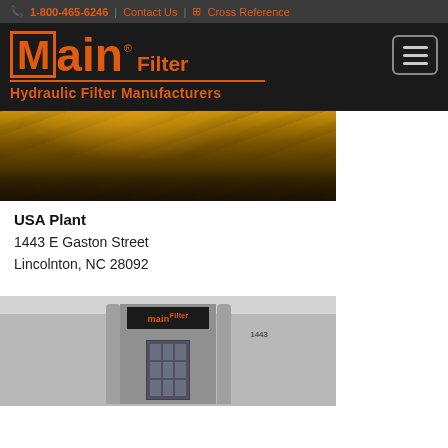1-800-465-6246 | Contact Us | Cross Reference
[Figure (logo): Main Filter - Hydraulic Filter Manufacturers logo in orange on black background]
[Figure (photo): Aerial photo of plant facility at night with orange lighting]
USA Plant
1443 E Gaston Street
Lincolnton, NC 28092
[Figure (photo): Exterior photo of Main Filter USA plant building at 1443 E Gaston Street, Lincolnton NC, showing Main Filter sign above entrance]